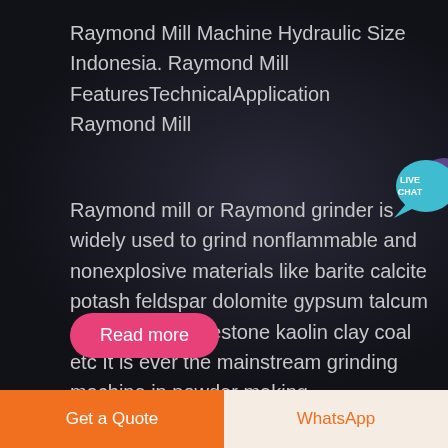Raymond Mill Machine Hydraulic Size Indonesia. Raymond Mill FeaturesTechnicalApplication Raymond Mill
Raymond mill or Raymond grinder is widely used to grind nonflammable and nonexplosive materials like barite calcite potash feldspar dolomite gypsum talcum mica marble limestone kaolin clay coal etc It is ever the mainstream grinding machine in powder making ...
[Figure (other): Live Chat speech bubble icon in teal/cyan color with white text reading LIVE CHAT]
Read more
Get a Quote
WhatsApp